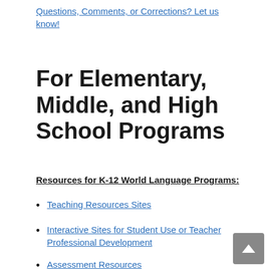Questions, Comments, or Corrections? Let us know!
For Elementary, Middle, and High School Programs
Resources for K-12 World Language Programs:
Teaching Resources Sites
Interactive Sites for Student Use or Teacher Professional Development
Assessment Resources